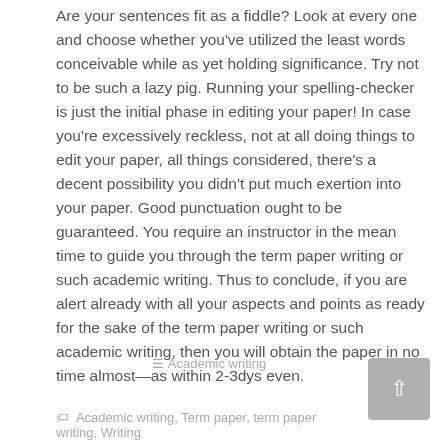Are your sentences fit as a fiddle? Look at every one and choose whether you've utilized the least words conceivable while as yet holding significance. Try not to be such a lazy pig. Running your spelling-checker is just the initial phase in editing your paper! In case you're excessively reckless, not at all doing things to edit your paper, all things considered, there's a decent possibility you didn't put much exertion into your paper. Good punctuation ought to be guaranteed. You require an instructor in the mean time to guide you through the term paper writing or such academic writing. Thus to conclude, if you are alert already with all your aspects and points as ready for the sake of the term paper writing or such academic writing, then you will obtain the paper in no time almost—as within 2-3dys even.
Academic writing
Academic writing, Term paper, term paper writing, Writing